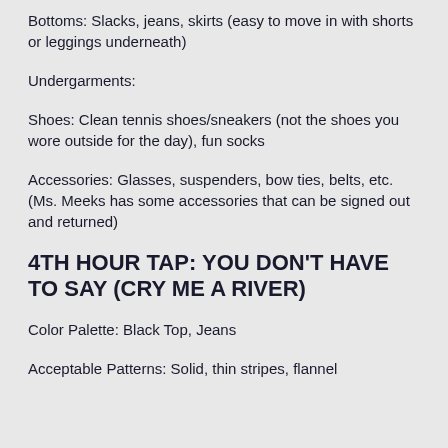Bottoms: Slacks, jeans, skirts (easy to move in with shorts or leggings underneath)
Undergarments:
Shoes: Clean tennis shoes/sneakers (not the shoes you wore outside for the day), fun socks
Accessories: Glasses, suspenders, bow ties, belts, etc. (Ms. Meeks has some accessories that can be signed out and returned)
4TH HOUR TAP: YOU DON'T HAVE TO SAY (CRY ME A RIVER)
Color Palette: Black Top, Jeans
Acceptable Patterns: Solid, thin stripes, flannel